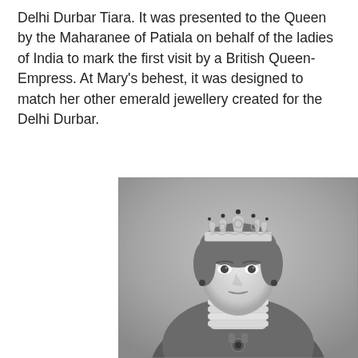Delhi Durbar Tiara. It was presented to the Queen by the Maharanee of Patiala on behalf of the ladies of India to mark the first visit by a British Queen-Empress. At Mary's behest, it was designed to match her other emerald jewellery created for the Delhi Durbar.
[Figure (photo): Black and white historical photograph of a woman (Queen Mary) wearing an ornate tiara/crown and a high pearl choker necklace, dressed in formal royal attire with embroidered/decorated clothing. The background is a painted studio backdrop.]